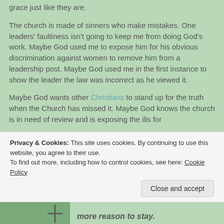grace just like they are.
The church is made of sinners who make mistakes. One leaders' faultiness isn't going to keep me from doing God's work. Maybe God used me to expose him for his obvious discrimination against women to remove him from a leadership post. Maybe God used me in the first instance to show the leader the law was incorrect as he viewed it.
Maybe God wants other Christians to stand up for the truth when the Church has missed it. Maybe God knows the church is in need of review and is exposing the ills for
Privacy & Cookies: This site uses cookies. By continuing to use this website, you agree to their use.
To find out more, including how to control cookies, see here: Cookie Policy
Close and accept
more reason to stay.